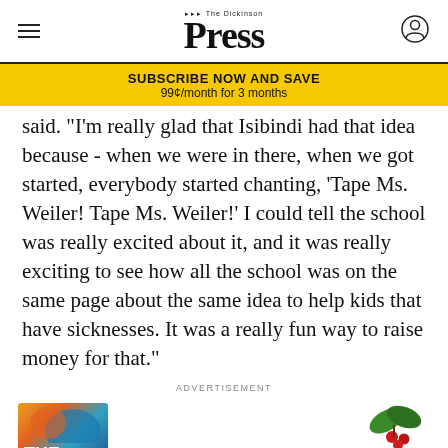The Dickinson Press
SUBSCRIBE NOW AND SAVE
99¢/month for 3 months
said. "I'm really glad that Isibindi had that idea because - when we were in there, when we got started, everybody started chanting, 'Tape Ms. Weiler! Tape Ms. Weiler!' I could tell the school was really excited about it, and it was really exciting to see how all the school was on the same page about the same idea to help kids that have sicknesses. It was a really fun way to raise money for that."
ADVERTISEMENT
[Figure (illustration): Partial view of a book cover showing 'THE' text with colorful illustration, and a holly leaf decoration in the upper right area of the advertisement.]